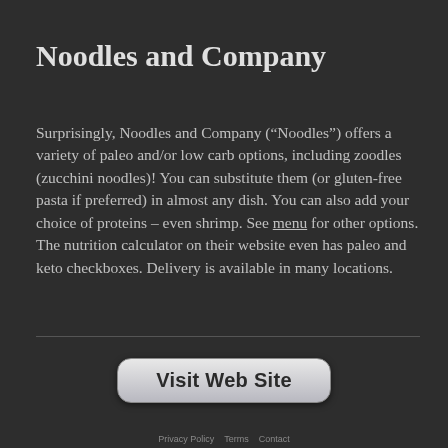Noodles and Company
Surprisingly, Noodles and Company (“Noodles”) offers a variety of paleo and/or low carb options, including zoodles (zucchini noodles)! You can substitute them (or gluten-free pasta if preferred) in almost any dish. You can also add your choice of proteins – even shrimp. See menu for other options. The nutrition calculator on their website even has paleo and keto checkboxes. Delivery is available in many locations.
[Figure (other): Visit Web Site button]
... Privacy Policy ... Terms ...